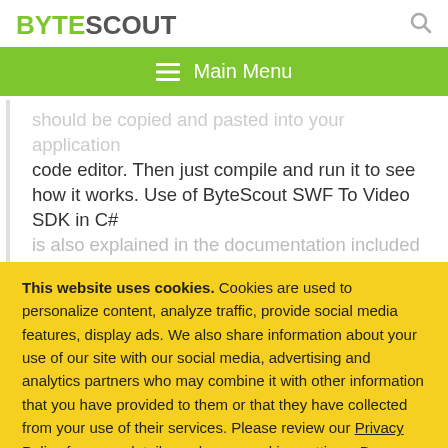BYTESCOUT
should be copied and pasted into your application code editor. Then just compile and run it to see how it works. Use of ByteScout SWF To Video SDK in C# is also explained in the documentation included
This website uses cookies. Cookies are used to personalize content, analyze traffic, provide social media features, display ads. We also share information about your use of our site with our social media, advertising and analytics partners who may combine it with other information that you have provided to them or that they have collected from your use of their services. Please review our Privacy Policy for more details or change cookies settings. By closing this banner or by clicking a link or continuing to browse otherwise, you consent to our cookies.
OK